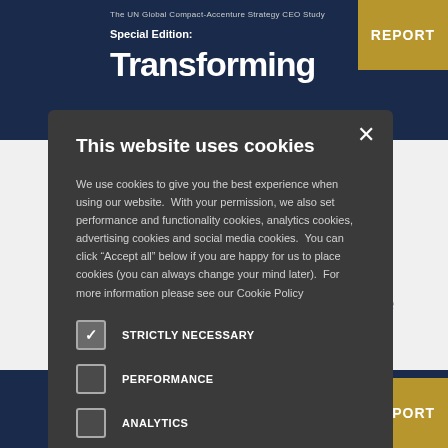The UN Global Compact-Accenture Strategy CEO Study
Special Edition: Transforming
r the
Global
y, the
h on
n
This website uses cookies
We use cookies to give you the best experience when using our website.  With your permission, we also set performance and functionality cookies, analytics cookies, advertising cookies and social media cookies.  You can click "Accept all" below if you are happy for us to place cookies (you can always change your mind later).  For more information please see our Cookie Policy
STRICTLY NECESSARY
PERFORMANCE
ANALYTICS
FUNCTIONALITY
SOCIAL MEDIA